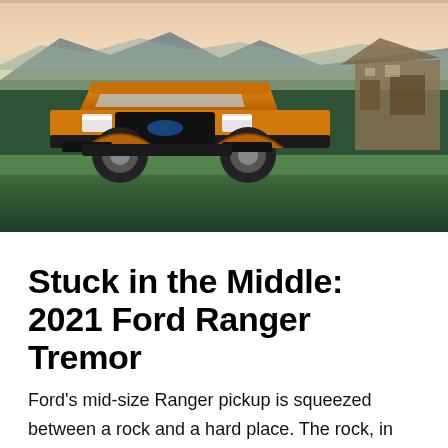[Figure (photo): Orange Ford Ranger Tremor pickup truck parked on a grassy hillside at dusk, with mountains and an old wooden barn structure visible in the background]
Stuck in the Middle: 2021 Ford Ranger Tremor
Ford's mid-size Ranger pickup is squeezed between a rock and a hard place. The rock, in this scenario, is Ford's best-selling F-Series pickup. With a wide array of trim levels and options packages, even a well-equipped 4x4